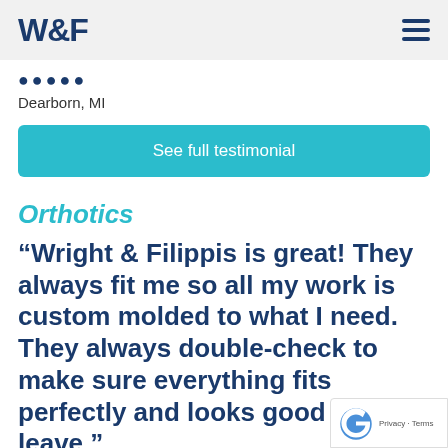W&F
Dearborn, MI
See full testimonial
Orthotics
“Wright & Filippis is great! They always fit me so all my work is custom molded to what I need. They always double-check to make sure everything fits perfectly and looks good before I leave.”